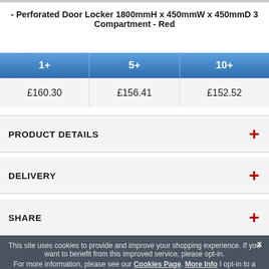- Perforated Door Locker 1800mmH x 450mmW x 450mmD 3 Compartment - Red
| 1+ | 5+ | 10+ |
| --- | --- | --- |
| £160.30 | £156.41 | £152.52 |
PRODUCT DETAILS
DELIVERY
SHARE
This site uses cookies to provide and improve your shopping experience. If you want to benefit from this improved service, please opt-in. For more information, please see our Cookies Page. More Info I opt-in to a better browsing experience